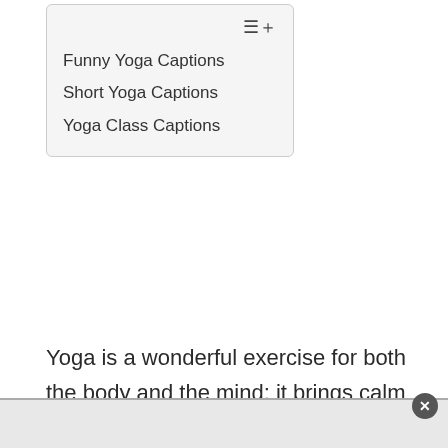Funny Yoga Captions
Short Yoga Captions
Yoga Class Captions
Yoga is a wonderful exercise for both the body and the mind; it brings calm and mindfulness to those who do it. While it is great to practice yoga, it is also a good idea to share pictures of yoga poses with your followers on social media.